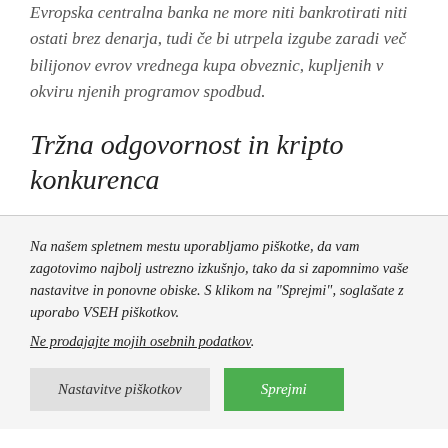Evropska centralna banka ne more niti bankrotirati niti ostati brez denarja, tudi če bi utrpela izgube zaradi več bilijonov evrov vrednega kupa obveznic, kupljenih v okviru njenih programov spodbud.
Tržna odgovornost in kripto konkurenca
Na našem spletnem mestu uporabljamo piškotke, da vam zagotovimo najbolj ustrezno izkušnjo, tako da si zapomnimo vaše nastavitve in ponovne obiske. S klikom na "Sprejmi", soglašate z uporabo VSEH piškotkov. Ne prodajajte mojih osebnih podatkov.